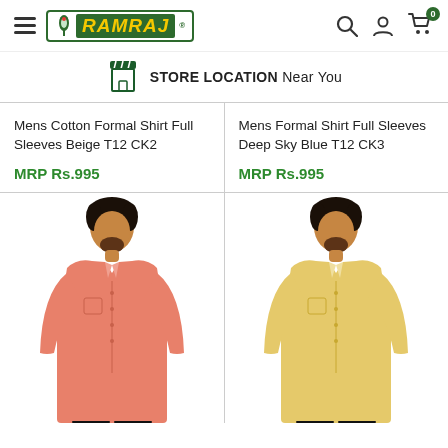RAMRAJ — Store Navigation Header with search, account, and cart (0 items)
STORE LOCATION Near You
Mens Cotton Formal Shirt Full Sleeves Beige T12 CK2
MRP Rs.995
Mens Formal Shirt Full Sleeves Deep Sky Blue T12 CK3
MRP Rs.995
[Figure (photo): Man wearing a salmon/coral pink full-sleeve formal shirt with black trousers]
[Figure (photo): Man wearing a light yellow/golden full-sleeve formal shirt with black trousers]